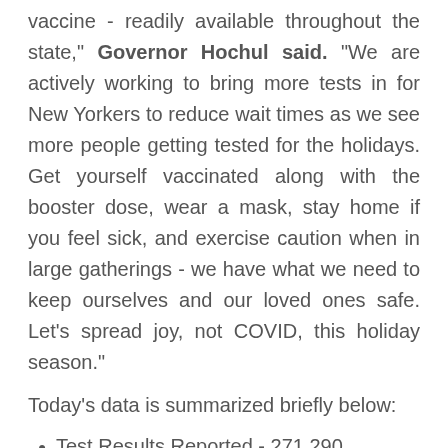vaccine - readily available throughout the state," Governor Hochul said. "We are actively working to bring more tests in for New Yorkers to reduce wait times as we see more people getting tested for the holidays. Get yourself vaccinated along with the booster dose, wear a mask, stay home if you feel sick, and exercise caution when in large gatherings - we have what we need to keep ourselves and our loved ones safe. Let's spread joy, not COVID, this holiday season."
Today's data is summarized briefly below:
Test Results Reported - 271,290
Total Positive - 28,924
Percent Positive - 10.66%